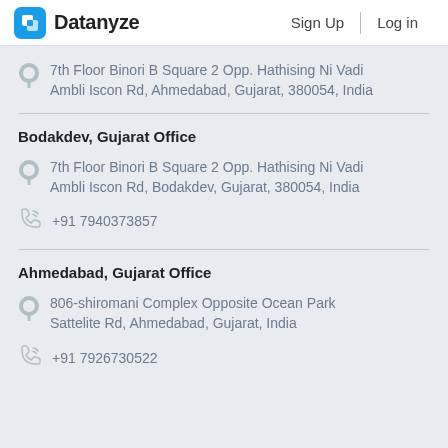Datanyze | Sign Up | Log in
7th Floor Binori B Square 2 Opp. Hathising Ni Vadi Ambli Iscon Rd, Ahmedabad, Gujarat, 380054, India
Bodakdev, Gujarat Office
7th Floor Binori B Square 2 Opp. Hathising Ni Vadi Ambli Iscon Rd, Bodakdev, Gujarat, 380054, India
+91 7940373857
Ahmedabad, Gujarat Office
806-shiromani Complex Opposite Ocean Park Sattelite Rd, Ahmedabad, Gujarat, India
+91 7926730522